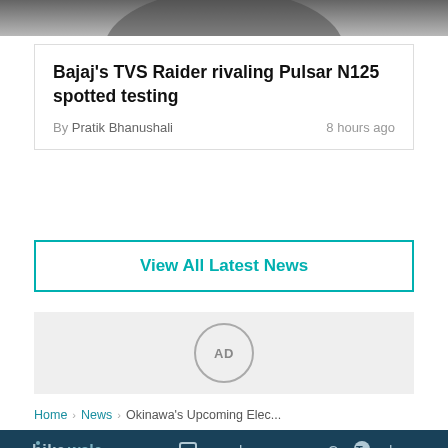[Figure (photo): Top portion of a photo, partially cropped, showing a dark silhouette against a light background]
Bajaj’s TVS Raider rivaling Pulsar N125 spotted testing
By Pratik Bhanushali	8 hours ago
View All Latest News
[Figure (other): AD placeholder circle with text AD]
Home > News > Okinawa’s Upcoming Elec...
[Figure (logo): BikeWale logo]
[Figure (logo): CarWale logo]
[Figure (logo): CarTrade logo]
[Figure (logo): Mobility Outlook logo]
[Figure (logo): CarWale AbSure logo]
About Us